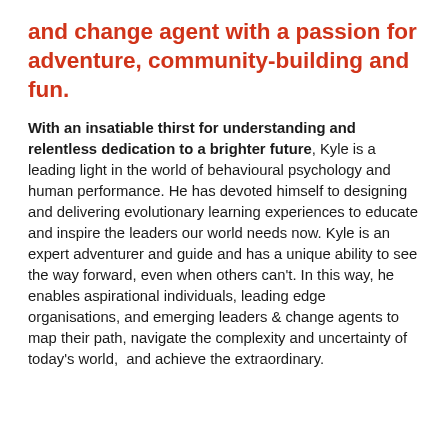and change agent with a passion for adventure, community-building and fun.
With an insatiable thirst for understanding and relentless dedication to a brighter future, Kyle is a leading light in the world of behavioural psychology and human performance. He has devoted himself to designing and delivering evolutionary learning experiences to educate and inspire the leaders our world needs now. Kyle is an expert adventurer and guide and has a unique ability to see the way forward, even when others can't. In this way, he enables aspirational individuals, leading edge organisations, and emerging leaders & change agents to map their path, navigate the complexity and uncertainty of today's world,  and achieve the extraordinary.